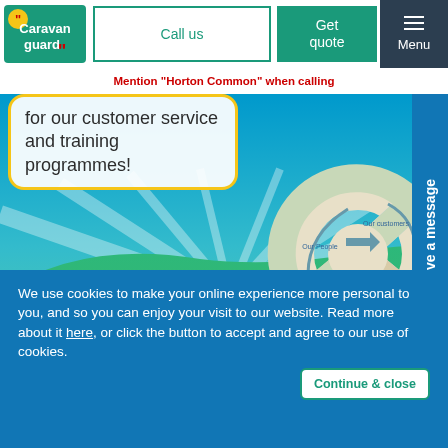[Figure (logo): Caravan Guard logo with yellow and red quotation mark styling]
Call us
Get quote
Menu
Mention "Horton Common" when calling
for our customer service and training programmes!
[Figure (infographic): Circular diagram with three segments labeled Our People, Our Customers, Our Success on a scenic landscape background with sun rays, hills and sky]
Leave a message
We use cookies to make your online experience more personal to you, and so you can enjoy your visit to our website. Read more about it here, or click the button to accept and agree to our use of cookies.
Continue & close